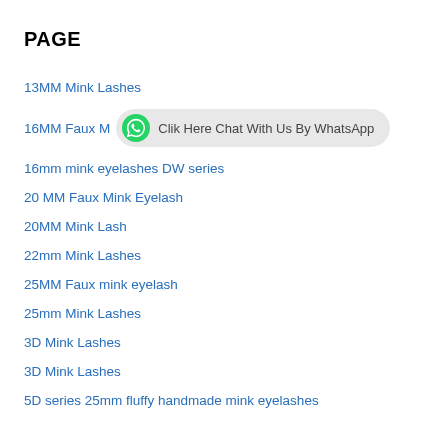PAGE
13MM Mink Lashes
16MM Faux M [Clik Here Chat With Us By WhatsApp]
16mm mink eyelashes DW series
20 MM Faux Mink Eyelash
20MM Mink Lash
22mm Mink Lashes
25MM Faux mink eyelash
25mm Mink Lashes
3D Mink Lashes
3D Mink Lashes
5D series 25mm fluffy handmade mink eyelashes